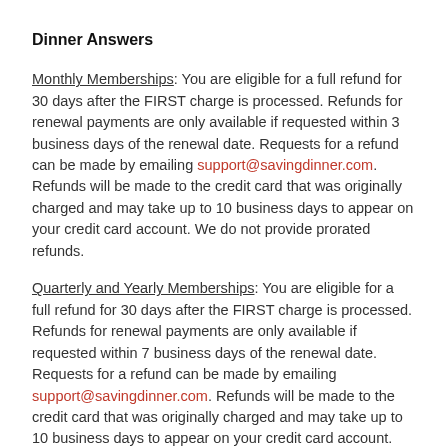Dinner Answers
Monthly Memberships: You are eligible for a full refund for 30 days after the FIRST charge is processed. Refunds for renewal payments are only available if requested within 3 business days of the renewal date. Requests for a refund can be made by emailing support@savingdinner.com. Refunds will be made to the credit card that was originally charged and may take up to 10 business days to appear on your credit card account. We do not provide prorated refunds.
Quarterly and Yearly Memberships: You are eligible for a full refund for 30 days after the FIRST charge is processed. Refunds for renewal payments are only available if requested within 7 business days of the renewal date. Requests for a refund can be made by emailing support@savingdinner.com. Refunds will be made to the credit card that was originally charged and may take up to 10 business days to appear on your credit card account. We do not provide prorated refunds.